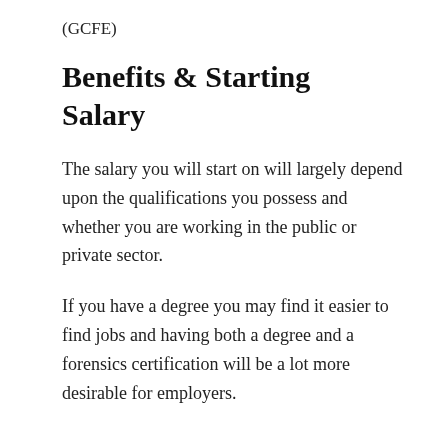(GCFE)
Benefits & Starting Salary
The salary you will start on will largely depend upon the qualifications you possess and whether you are working in the public or private sector.
If you have a degree you may find it easier to find jobs and having both a degree and a forensics certification will be a lot more desirable for employers.